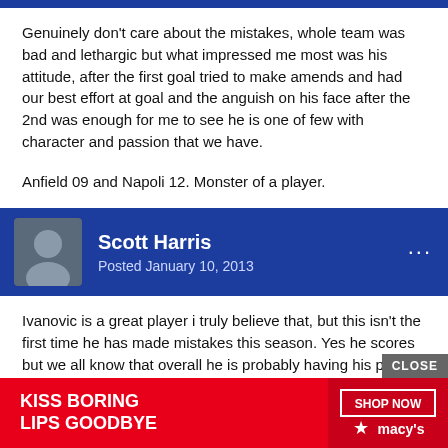Genuinely don't care about the mistakes, whole team was bad and lethargic but what impressed me most was his attitude, after the first goal tried to make amends and had our best effort at goal and the anguish on his face after the 2nd was enough for me to see he is one of few with character and passion that we have.
Anfield 09 and Napoli 12. Monster of a player.
Scott Harris
Posted January 10, 2013
Ivanovic is a great player i truly believe that, but this isn't the first time he has made mistakes this season. Yes he scores but we all know that overall he is probably having his poorest season defensively for us.
[Figure (screenshot): Macy's advertisement banner: KISS BORING LIPS GOODBYE with SHOP NOW button and Macy's logo]